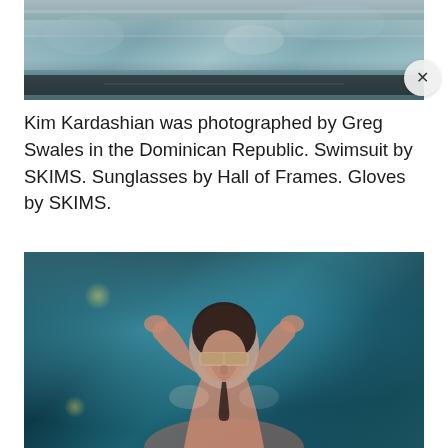[Figure (photo): Cropped top portion of a photo showing water/pool scene with reflections, partially visible at top of page]
Kim Kardashian was photographed by Greg Swales in the Dominican Republic. Swimsuit by SKIMS. Sunglasses by Hall of Frames. Gloves by SKIMS.
[Figure (photo): Kim Kardashian in a pool wearing sunglasses and a swimsuit, with wet hair slicked back, hands raised to head, teal/blue water background]